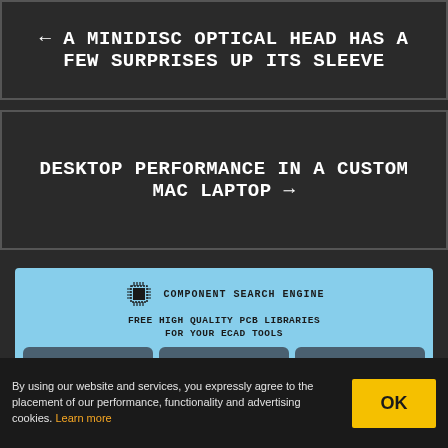← A MINIDISC OPTICAL HEAD HAS A FEW SURPRISES UP ITS SLEEVE
DESKTOP PERFORMANCE IN A CUSTOM MAC LAPTOP →
[Figure (advertisement): Component Search Engine advertisement banner with light blue background. Shows a chip icon and brand name 'COMPONENT SEARCH ENGINE'. Tagline reads 'FREE HIGH QUALITY PCB LIBRARIES FOR YOUR ECAD TOOLS'. Three cards below: PCB FOOTPRINTS, 3D MODELS, SCHEMATIC SYMBOLS with respective icons.]
By using our website and services, you expressly agree to the placement of our performance, functionality and advertising cookies. Learn more